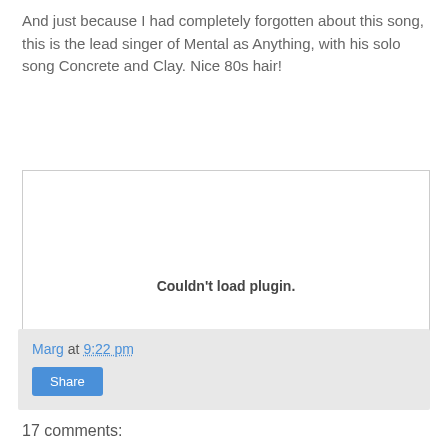And just because I had completely forgotten about this song, this is the lead singer of Mental as Anything, with his solo song Concrete and Clay. Nice 80s hair!
[Figure (other): Embedded media plugin area showing 'Couldn't load plugin.' message]
Marg at 9:22 pm
Share
17 comments: